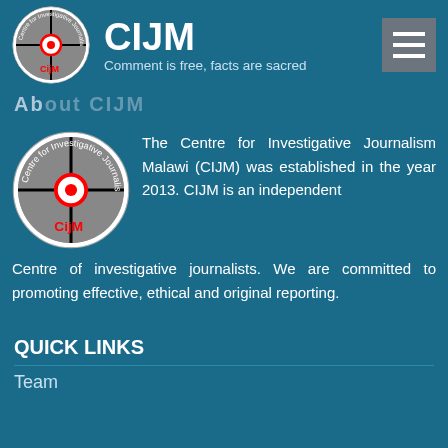CIJM — Comment is free, facts are sacred
About CIJM
[Figure (logo): CIJM circular logo with crosshair and keyboard background, labeled CijM]
The Centre for Investigative Journalism Malawi (CIJM) was established in the year 2013. CIJM is an independent Centre of investigative journalists. We are committed to promoting effective, ethical and original reporting.
QUICK LINKS
Team